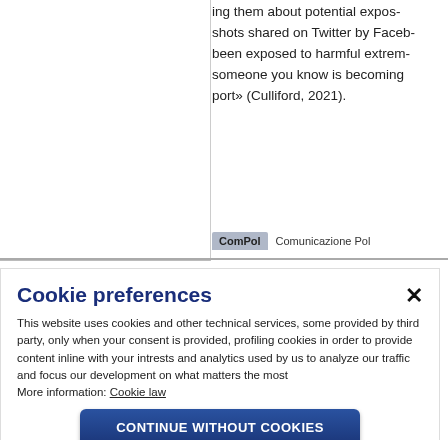ing them about potential expos... shots shared on Twitter by Faceb... been exposed to harmful extrem... someone you know is becoming... port» (Culliford, 2021).
Cookie preferences
This website uses cookies and other technical services, some provided by third party, only when your consent is provided, profiling cookies in order to provide content inline with your intrests and analytics used by us to analyze our traffic and focus our development on what matters the most
More information: Cookie law
CONTINUE WITHOUT COOKIES
ACCEPT ALL
CUSTOMIZE